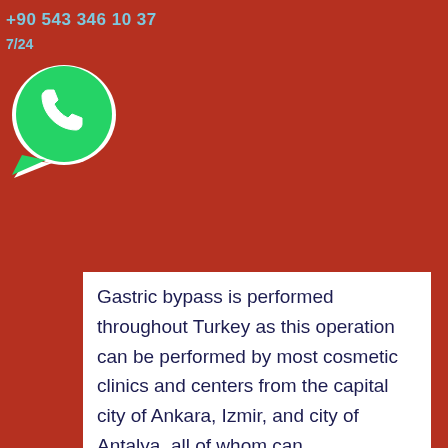+90 543 346 10 37
7/24
[Figure (logo): WhatsApp logo icon (green circle with white phone handset) at top left]
Gastric bypass is performed throughout Turkey as this operation can be performed by most cosmetic clinics and centers from the capital city of Ankara, Izmir, and city of Antalya, all of whom can
[Figure (photo): Circular portrait photo of a young woman with brown curly hair, wearing a blue jacket, smiling]
Ask Expert with WhatsApp
[Figure (logo): WhatsApp logo icon (green circle with white phone handset) at bottom left]